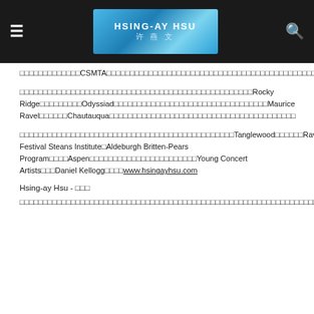HSING-AY HSU 许燕文 [header logo with navigation]
□□□□□□□□□□□□□CSMTA□□□□□□□□□□□□□□□□□□□□□□□□□□□□□□□□□□□□□□□□□□□□□□□□□
□□□□□□□□□□□□□□□□□□□□□□□□□□□□□□□□□□□□□□□□□□□□□□□□□□Rocky Ridge□□□□□□□□□Odyssiad□□□□□□□□□□□□□□□□□□□□□□□□□□□□□□□□□Maurice Ravel□□□□□□Chautauqua□□□□□□□□□□□□□□□□□□□□□□□□□□□□□□□□□□□□□□□□
□□□□□□□□□□□□□□□□□□□□□□□□□□□□□□□□□□□□□□□□□□□□□□Tanglewood□□□□□□Ravinia Festival Steans Institute□Aldeburgh Britten-Pears Program□□□□Aspen□□□□□□□□□□□□□□□□□□□□□□□Young Concert Artists□□□Daniel Kellogg□□□□www.hsingayhsu.com
Hsing-ay Hsu - □□□
□□□□□□□□□□□□□□□□□□□□□□□□□□□□□□□□□□□□□□□□□□□□□□□□□□□□□□□□□□□□□□□□□□□□□□□□□□□□□□□□□□□□□□□□□□□□□□□□□□□□□□□□□□□□□□□□□□□□□□□□□□□□□□□□□□□□□□□□□□□□□□□□□□□□□□□□□□□□□□□□□□□□□□□□□□□□□□□□□□□□□□□□□□□□□□□□□□□□□□□□□□□□□□□□□□□□□□□□□□□□□□□□□□□□□□□□□